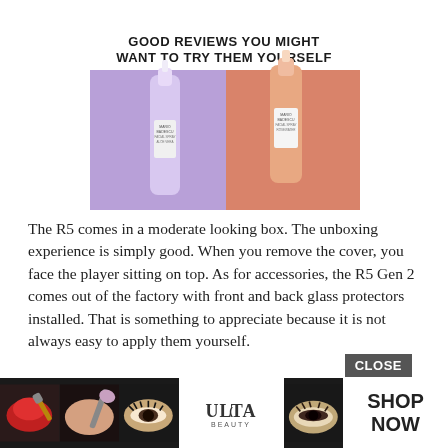[Figure (photo): Two Mario Badescu facial spray bottles on split purple and orange background, with headline text 'GOOD REVIEWS YOU MIGHT WANT TO TRY THEM YOURSELF' at top]
The R5 comes in a moderate looking box. The unboxing experience is simply good. When you remove the cover, you face the player sitting on top. As for accessories, the R5 Gen 2 comes out of the factory with front and back glass protectors installed. That is something to appreciate because it is not always easy to apply them yourself.
HiBy also did not forget to include a spare protector for the front glass, just in case. A USB-C charging
[Figure (advertisement): Ulta Beauty advertisement banner with makeup/cosmetics images and SHOP NOW call to action on black background, with a CLOSE button overlay]